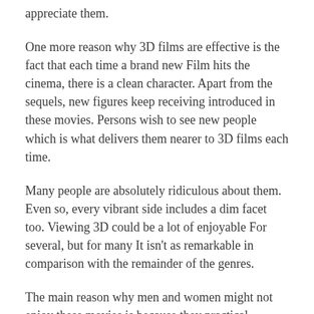appreciate them.
One more reason why 3D films are effective is the fact that each time a brand new Film hits the cinema, there is a clean character. Apart from the sequels, new figures keep receiving introduced in these movies. Persons wish to see new people which is what delivers them nearer to 3D films each time.
Many people are absolutely ridiculous about them. Even so, every vibrant side includes a dim facet too. Viewing 3D could be a lot of enjoyable For several, but for many It isn't as remarkable in comparison with the remainder of the genres.
The main reason why men and women might not enjoy these movies is because they practical experience kind of nausea. Many individuals, Particularly young children, might not be capable to view the Film continually. A lot